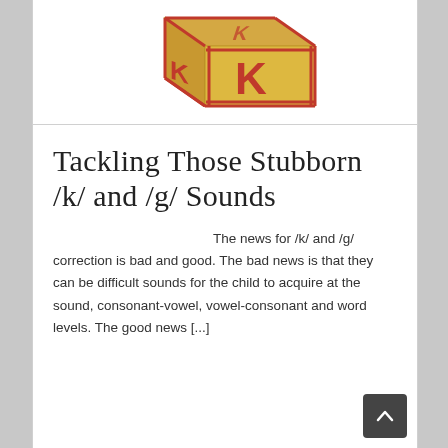[Figure (illustration): Colorful wooden alphabet block with the letter K visible on the front and side faces, red letters on a tan/beige block with red trim edges.]
Tackling Those Stubborn /k/ and /g/ Sounds
The news for /k/ and /g/ correction is bad and good. The bad news is that they can be difficult sounds for the child to acquire at the sound, consonant-vowel, vowel-consonant and word levels. The good news [...]